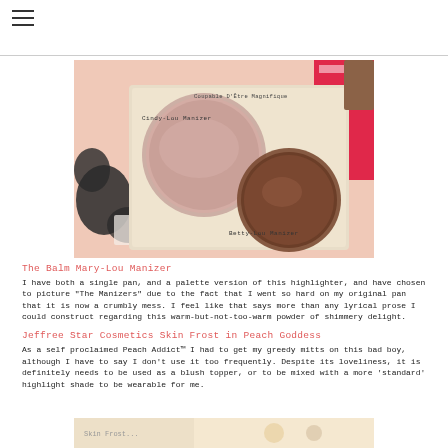[Figure (photo): Makeup palette showing 'The Manizers' with two circular pans - a pink blush pan labeled 'Cindy-Lou Manizer' and a brown bronzer pan labeled 'Betty-Lou Manizer', on a pink floral background]
The Balm Mary-Lou Manizer
I have both a single pan, and a palette version of this highlighter, and have chosen to picture 'The Manizers' due to the fact that I went so hard on my original pan that it is now a crumbly mess. I feel like that says more than any lyrical prose I could construct regarding this warm-but-not-too-warm powder of shimmery delight.
Jeffree Star Cosmetics Skin Frost in Peach Goddess
As a self proclaimed Peach Addict™ I had to get my greedy mitts on this bad boy, although I have to say I don't use it too frequently. Despite its loveliness, it is definitely needs to be used as a blush topper, or to be mixed with a more 'standard' highlight shade to be wearable for me.
[Figure (photo): Partial view of cosmetic products at the bottom of the page]